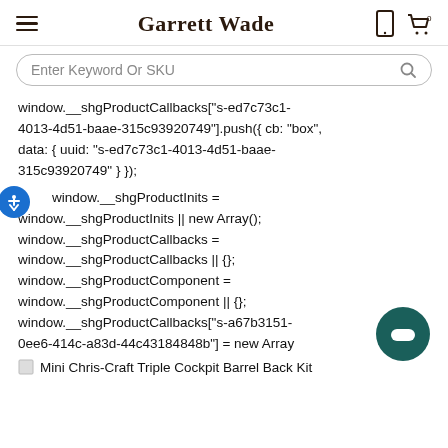Garrett Wade
Enter Keyword Or SKU
window.__shgProductCallbacks["s-ed7c73c1-4013-4d51-baae-315c93920749"].push({ cb: "box", data: { uuid: "s-ed7c73c1-4013-4d51-baae-315c93920749" } });
window.__shgProductInits = window.__shgProductInits || new Array(); window.__shgProductCallbacks = window.__shgProductCallbacks || {}; window.__shgProductComponent = window.__shgProductComponent || {}; window.__shgProductCallbacks["s-a67b3151-0ee6-414c-a83d-44c43184848b"] = new Array
Mini Chris-Craft Triple Cockpit Barrel Back Kit